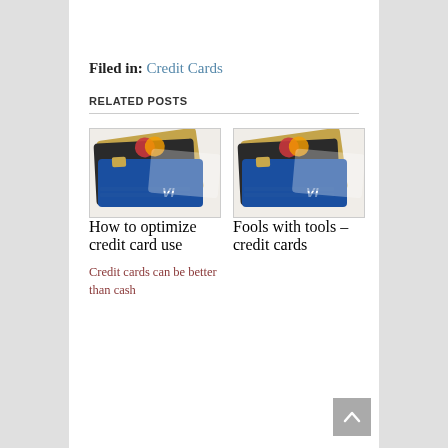Filed in: Credit Cards
RELATED POSTS
[Figure (photo): Stack of credit cards including Visa and Mastercard, photo 1]
How to optimize credit card use
[Figure (photo): Stack of credit cards including Visa and Mastercard, photo 2]
Fools with tools – credit cards
Credit cards can be better than cash